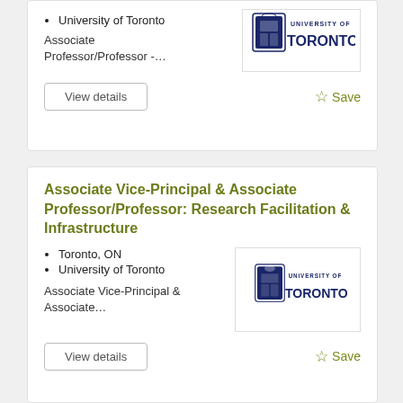University of Toronto
Associate Professor/Professor -…
[Figure (logo): University of Toronto logo with shield crest and text]
View details
Save
Associate Vice-Principal & Associate Professor/Professor: Research Facilitation & Infrastructure
Toronto, ON
University of Toronto
Associate Vice-Principal & Associate…
[Figure (logo): University of Toronto logo with shield crest and text]
View details
Save